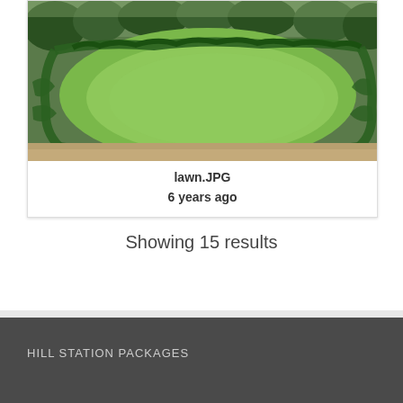[Figure (photo): Aerial or elevated view of a formal garden with manicured green lawn surrounded by curved hedgerows and topiary borders, with trees in background]
lawn.JPG
6 years ago
Showing 15 results
HILL STATION PACKAGES